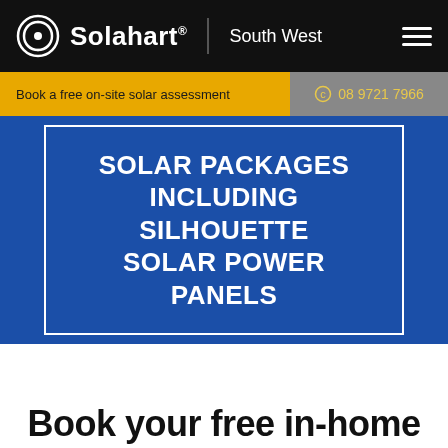Solahart® South West
Book a free on-site solar assessment
08 9721 7966
SOLAR PACKAGES INCLUDING SILHOUETTE SOLAR POWER PANELS
Book your free in-home